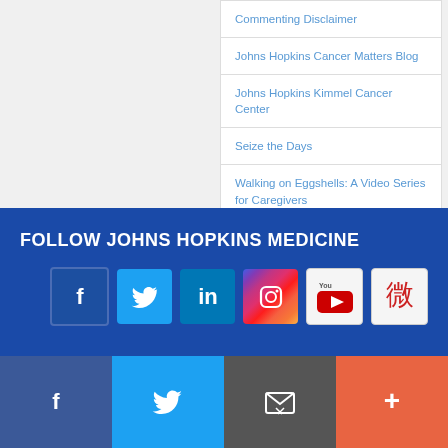Commenting Disclaimer
Johns Hopkins Cancer Matters Blog
Johns Hopkins Kimmel Cancer Center
Seize the Days
Walking on Eggshells: A Video Series for Caregivers
FOLLOW JOHNS HOPKINS MEDICINE
[Figure (other): Social media icons: Facebook, Twitter, LinkedIn, Instagram, YouTube, Weibo]
[Figure (other): Bottom share bar with Facebook, Twitter, Email, and More buttons]